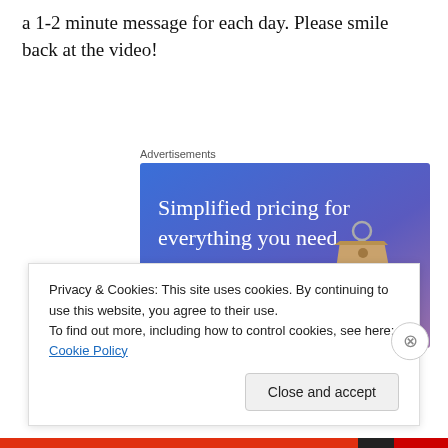a 1-2 minute message for each day. Please smile back at the video!
[Figure (screenshot): Advertisement banner: 'Simplified pricing for everything you need.' with 'Build Your Website' pink button and a price tag graphic on blue-purple gradient background]
Privacy & Cookies: This site uses cookies. By continuing to use this website, you agree to their use.
To find out more, including how to control cookies, see here: Cookie Policy
Close and accept